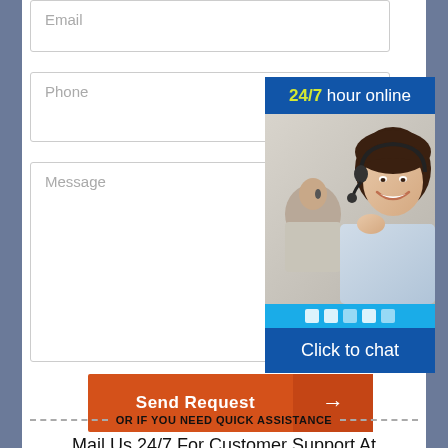Email
Phone
[Figure (photo): Customer support representative with headset smiling at camera, another agent in background]
Message
Send Request →
OR IF YOU NEED QUICK ASSISTANCE
Mail Us 24/7 For Customer Support At